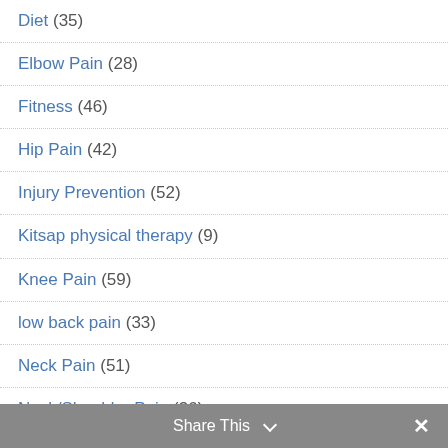Diet (35)
Elbow Pain (28)
Fitness (46)
Hip Pain (42)
Injury Prevention (52)
Kitsap physical therapy (9)
Knee Pain (59)
low back pain (33)
Neck Pain (51)
Neck/Shoulder Pain (36)
Osteoarthritis (41)
Share This ✓ ✕